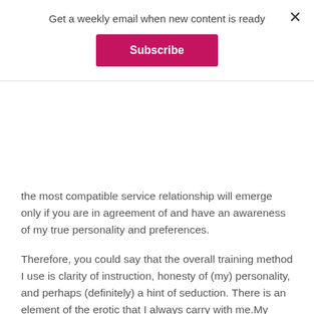Get a weekly email when new content is ready
Subscribe
the most compatible service relationship will emerge only if you are in agreement of and have an awareness of my true personality and preferences.
Therefore, you could say that the overall training method I use is clarity of instruction, honesty of (my) personality, and perhaps (definitely) a hint of seduction. There is an element of the erotic that I always carry with me.My photos and audio/video instructions reflect and promote just this. Not to get into it too heavily, but I deeply believe that engaging with our sexuality is a powerful way to program my desires into those I touch.